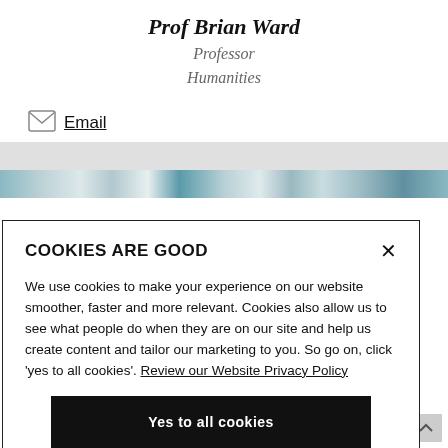Prof Brian Ward
Professor
Humanities
Email
[Figure (screenshot): Cookie consent modal overlay with title 'COOKIES ARE GOOD', body text about cookie usage, a link to 'Review our Website Privacy Policy', a 'Yes to all cookies' button, and a partially visible outline button below.]